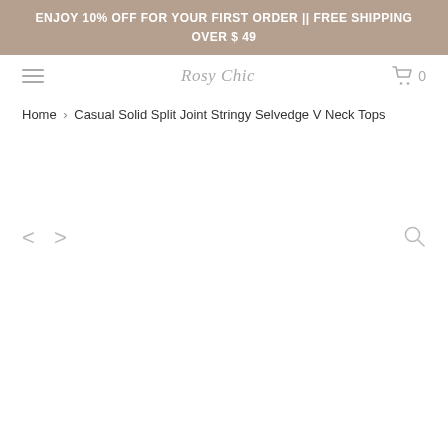ENJOY 10% OFF FOR YOUR FIRST ORDER || FREE SHIPPING OVER $ 49
Rosy Chic
Home › Casual Solid Split Joint Stringy Selvedge V Neck Tops
[Figure (screenshot): E-commerce product page showing navigation with hamburger menu, 'Rosy Chic' brand name, cart icon with 0 items, breadcrumb navigation, and product image area with left/right arrows and search magnifier icon]